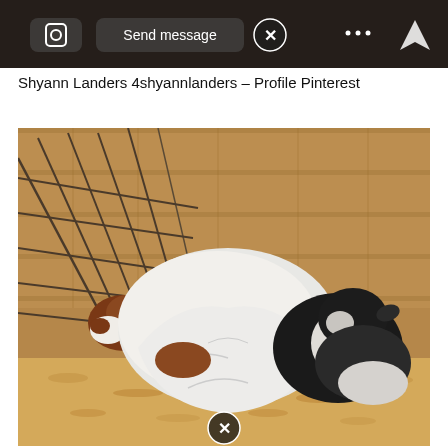[Figure (screenshot): Top portion of a mobile app screenshot showing a dark interface with a camera icon, 'Send message' button, an X close button, a '...' menu, and a location/navigation icon]
Shyann Landers 4shyannlanders – Profile Pinterest
[Figure (photo): Photo of goats in a barn pen — two goats wearing white fabric covers/blankets, one brown-and-white and one black-and-white, lying on wood shavings in front of a metal wire fence with wooden plank walls behind. An X close button is visible at the bottom center of the image.]